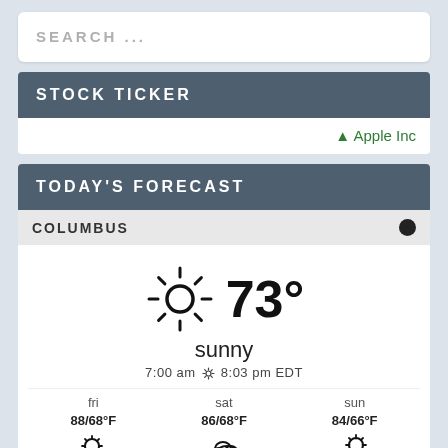SEARCH ...
STOCK TICKER
↑ Apple Inc
TODAY'S FORECAST
COLUMBUS
73°
sunny
7:00 am ✦ 8:03 pm EDT
fri  88/68°F
sat  86/68°F
sun  84/66°F